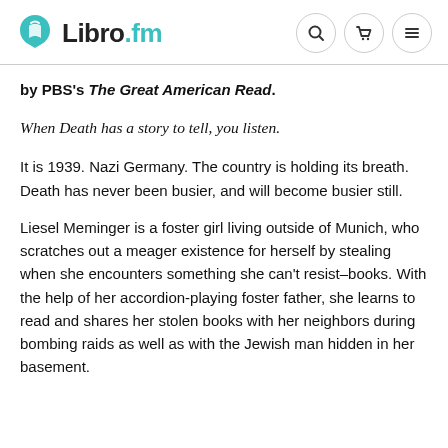Libro.fm
by PBS's The Great American Read.
When Death has a story to tell, you listen.
It is 1939. Nazi Germany. The country is holding its breath. Death has never been busier, and will become busier still.
Liesel Meminger is a foster girl living outside of Munich, who scratches out a meager existence for herself by stealing when she encounters something she can't resist–books. With the help of her accordion-playing foster father, she learns to read and shares her stolen books with her neighbors during bombing raids as well as with the Jewish man hidden in her basement.